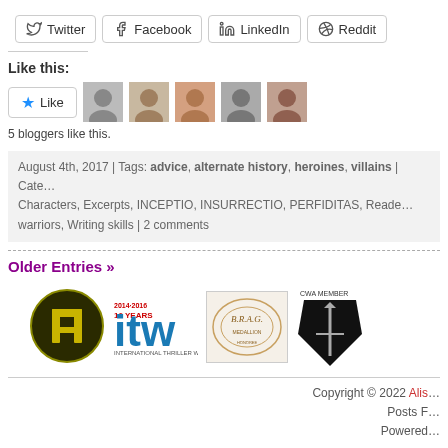Twitter
Facebook
LinkedIn
Reddit
Like this:
5 bloggers like this.
August 4th, 2017 | Tags: advice, alternate history, heroines, villains | Categories: Characters, Excerpts, INCEPTIO, INSURRECTIO, PERFIDITAS, Readers, warriors, Writing skills | 2 comments
Older Entries »
[Figure (logo): Historical Fiction logo - dark circle with castle H icon]
[Figure (logo): ITW International Thriller Writers 10 Years logo]
[Figure (logo): B.R.A.G. Medallion logo]
[Figure (logo): CWA Member dagger badge]
Copyright © 2022 Alis... Posts F... Powered...